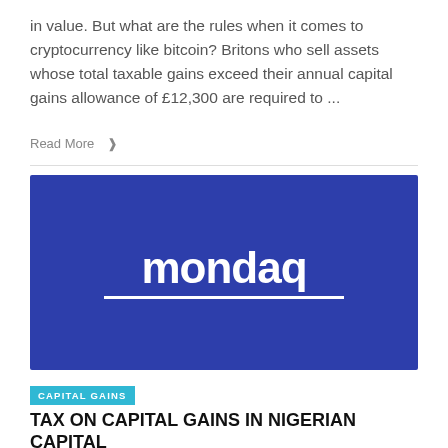in value. But what are the rules when it comes to cryptocurrency like bitcoin? Britons who sell assets whose total taxable gains exceed their annual capital gains allowance of £12,300 are required to ...
Read More ❯
[Figure (logo): Mondaq logo on a dark blue background. White bold text reads 'mondaq' with a white underline beneath it.]
CAPITAL GAINS
TAX ON CAPITAL GAINS IN NIGERIAN CAPITAL